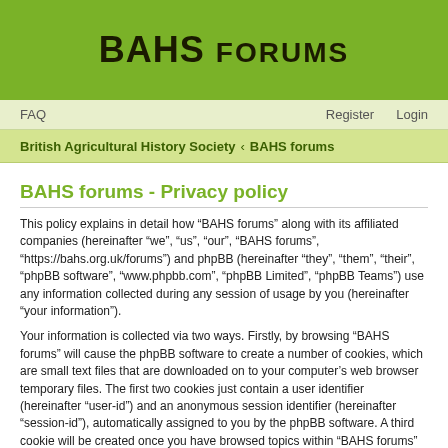BAHS FORUMS
FAQ  Register  Login
British Agricultural History Society ‹ BAHS forums
BAHS forums - Privacy policy
This policy explains in detail how “BAHS forums” along with its affiliated companies (hereinafter “we”, “us”, “our”, “BAHS forums”, “https://bahs.org.uk/forums”) and phpBB (hereinafter “they”, “them”, “their”, “phpBB software”, “www.phpbb.com”, “phpBB Limited”, “phpBB Teams”) use any information collected during any session of usage by you (hereinafter “your information”).
Your information is collected via two ways. Firstly, by browsing “BAHS forums” will cause the phpBB software to create a number of cookies, which are small text files that are downloaded on to your computer’s web browser temporary files. The first two cookies just contain a user identifier (hereinafter “user-id”) and an anonymous session identifier (hereinafter “session-id”), automatically assigned to you by the phpBB software. A third cookie will be created once you have browsed topics within “BAHS forums” and is used to store which topics have been read, thereby improving your user experience.